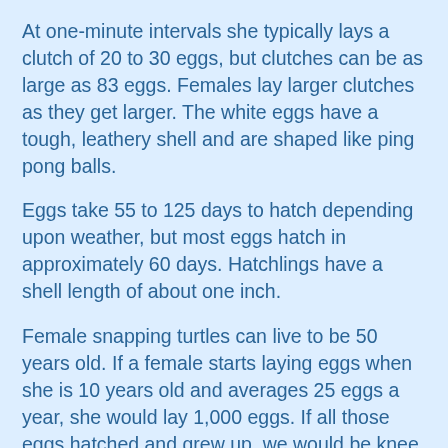At one-minute intervals she typically lays a clutch of 20 to 30 eggs, but clutches can be as large as 83 eggs. Females lay larger clutches as they get larger. The white eggs have a tough, leathery shell and are shaped like ping pong balls.
Eggs take 55 to 125 days to hatch depending upon weather, but most eggs hatch in approximately 60 days. Hatchlings have a shell length of about one inch.
Female snapping turtles can live to be 50 years old. If a female starts laying eggs when she is 10 years old and averages 25 eggs a year, she would lay 1,000 eggs. If all those eggs hatched and grew up, we would be knee deep in snapping turtles!
In order to have a stable population of snapping turtles, only two of those eggs need to reach adulthood. Even with that low percentage, turtle populations are thriving.